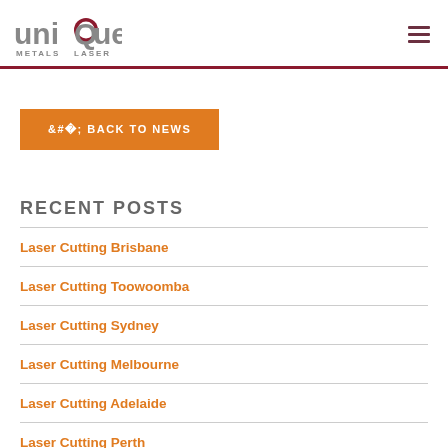[Figure (logo): Unique Metals Laser logo with stylized text and red circle on the letter Q]
< BACK TO NEWS
RECENT POSTS
Laser Cutting Brisbane
Laser Cutting Toowoomba
Laser Cutting Sydney
Laser Cutting Melbourne
Laser Cutting Adelaide
Laser Cutting Perth